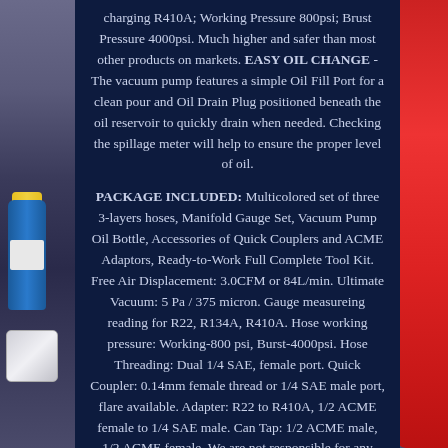charging R410A; Working Pressure 800psi; Brust Pressure 4000psi. Much higher and safer than most other products on markets. EASY OIL CHANGE - The vacuum pump features a simple Oil Fill Port for a clean pour and Oil Drain Plug positioned beneath the oil reservoir to quickly drain when needed. Checking the spillage meter will help to ensure the proper level of oil.
PACKAGE INCLUDED: Multicolored set of three 3-layers hoses, Manifold Gauge Set, Vacuum Pump Oil Bottle, Accessories of Quick Couplers and ACME Adaptors, Ready-to-Work Full Complete Tool Kit. Free Air Displacement: 3.0CFM or 84L/min. Ultimate Vacuum: 5 Pa / 375 micron. Gauge measureing reading for R22, R134A, R410A. Hose working pressure: Working-800 psi, Burst-4000psi. Hose Threading: Dual 1/4 SAE, female port. Quick Coupler: 0.14mm female thread or 1/4 SAE male port, flare available. Adapter: R22 to R410A, 1/2 ACME female to 1/4 SAE male. Can Tap: 1/2 ACME male, 1/2 ACME female. We are not responsible for any incorrect or undeliverable
[Figure (photo): Left side: blue cylindrical container with yellow cap and white label, white electronic device below. Right side: red container/bottle partially visible.]